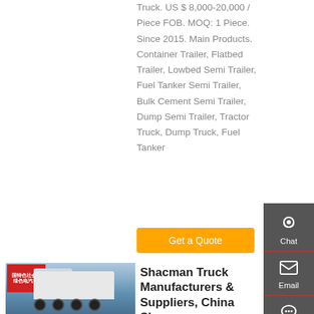Truck. US $ 8,000-20,000 / Piece FOB. MOQ: 1 Piece. Since 2015. Main Products. Container Trailer, Flatbed Trailer, Lowbed Semi Trailer, Fuel Tanker Semi Trailer, Bulk Cement Semi Trailer, Dump Semi Trailer, Tractor Truck, Dump Truck, Fuel Tanker
Get a Quote
[Figure (photo): Photo of a white Shacman tractor truck parked outdoors, with a red Chinese language banner in the background]
Shacman Truck Manufacturers & Suppliers, China Shacman